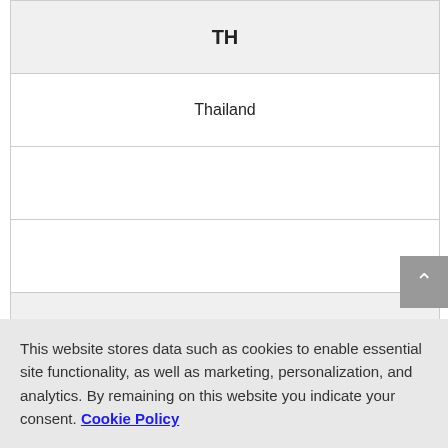| TH |
| Thailand |
|  |
|  |
| TR |
| Turkey |
| March 9th update |
|  |
This website stores data such as cookies to enable essential site functionality, as well as marketing, personalization, and analytics. By remaining on this website you indicate your consent. Cookie Policy